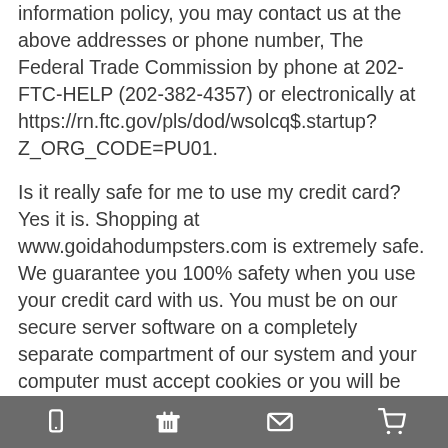information policy, you may contact us at the above addresses or phone number, The Federal Trade Commission by phone at 202-FTC-HELP (202-382-4357) or electronically at https://rn.ftc.gov/pls/dod/wsolcq$.startup?Z_ORG_CODE=PU01.
Is it really safe for me to use my credit card? Yes it is. Shopping at www.goidahodumpsters.com is extremely safe. We guarantee you 100% safety when you use your credit card with us. You must be on our secure server software on a completely separate compartment of our system and your computer must accept cookies or you will be unable to order. That way we are able to guarantee your credit card purchase. You will
[mobile icon] [dumpster icon] [email icon] [cart icon]